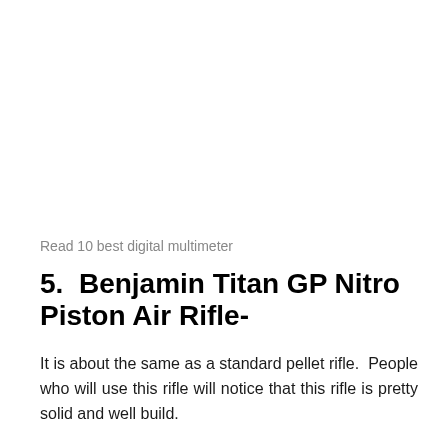Read 10 best digital multimeter
5.  Benjamin Titan GP Nitro Piston Air Rifle-
It is about the same as a standard pellet rifle.  People who will use this rifle will notice that this rifle is pretty solid and well build.